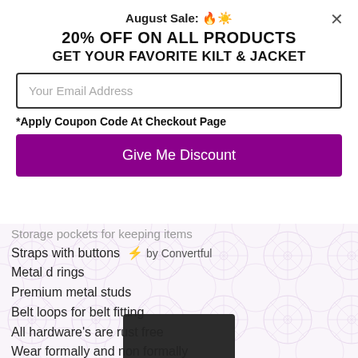August Sale: 🔥☀️
20% OFF ON ALL PRODUCTS
GET YOUR FAVORITE KILT & JACKET
Your Email Address
*Apply Coupon Code At Checkout Page
Give Me Discount
Storage pockets for keeping items
Straps with buttons  ⚡ by Convertful
Metal d rings
Premium metal studs
Belt loops for belt fitting
All hardware's are rust free
Wear formally and non formally
[Figure (photo): Product image of a kilt/jacket item, dark colored, partially visible at bottom of page]